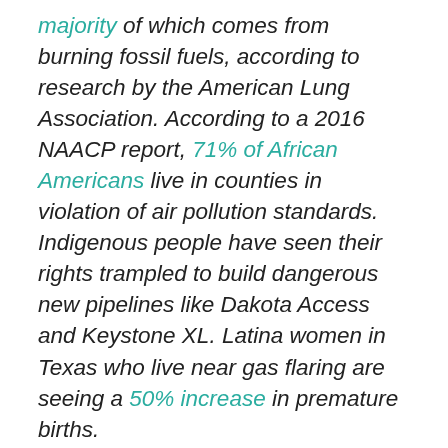majority of which comes from burning fossil fuels, according to research by the American Lung Association. According to a 2016 NAACP report, 71% of African Americans live in counties in violation of air pollution standards. Indigenous people have seen their rights trampled to build dangerous new pipelines like Dakota Access and Keystone XL. Latina women in Texas who live near gas flaring are seeing a 50% increase in premature births.

To advance environmental justice, you must stand up to fossil fuel CEOs, stop the expansion of oil,